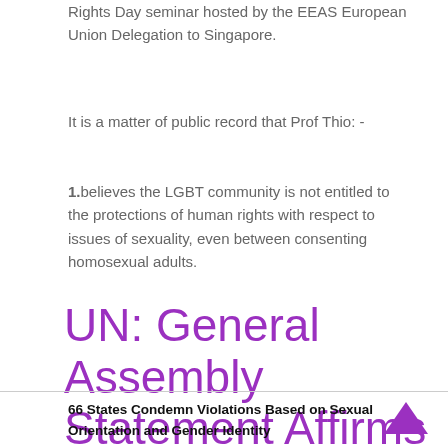Rights Day seminar hosted by the EEAS European Union Delegation to Singapore.
It is a matter of public record that Prof Thio: -
1. believes the LGBT community is not entitled to the protections of human rights with respect to issues of sexuality, even between consenting homosexual adults.
UN: General Assembly Statement Affirms Rights for All
66 States Condemn Violations Based on Sexual Orientation and Gender Identity